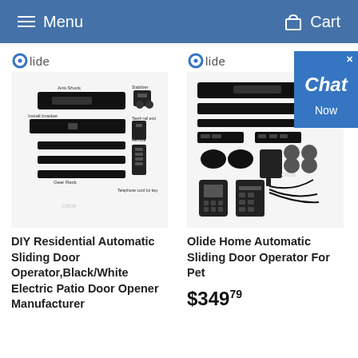Menu   Cart
[Figure (screenshot): Chat Now widget overlay in blue]
[Figure (photo): DIY Residential Automatic Sliding Door Operator parts laid out - Olide brand]
DIY Residential Automatic Sliding Door Operator,Black/White Electric Patio Door Opener Manufacturer
[Figure (photo): Olide Home Automatic Sliding Door Operator For Pet - parts laid out]
Olide Home Automatic Sliding Door Operator For Pet
$349.79